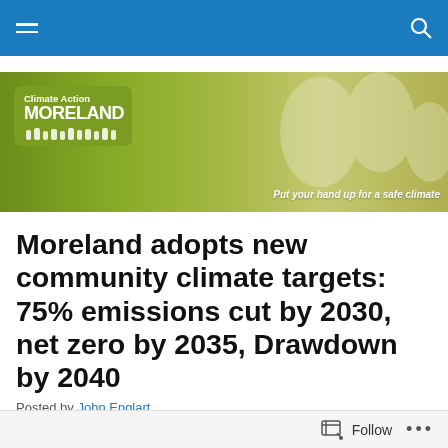Climate Action Moreland — navigation bar
[Figure (photo): Climate Action Moreland banner with logo on green background and tagline 'Put your hand up for a safe climate']
Moreland adopts new community climate targets: 75% emissions cut by 2030, net zero by 2035, Drawdown by 2040
Posted by John Englart
Follow • •••